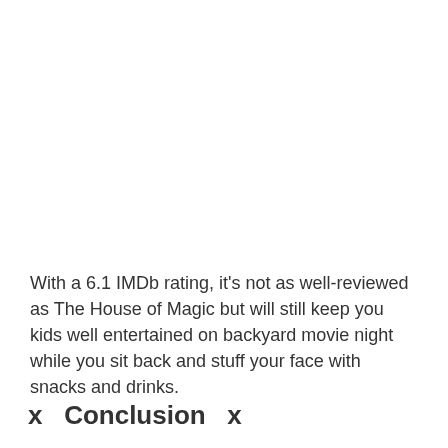With a 6.1 IMDb rating, it's not as well-reviewed as The House of Magic but will still keep you kids well entertained on backyard movie night while you sit back and stuff your face with snacks and drinks.
x  Conclusion  x